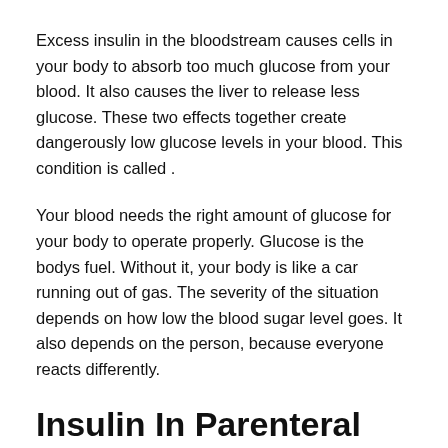Excess insulin in the bloodstream causes cells in your body to absorb too much glucose from your blood. It also causes the liver to release less glucose. These two effects together create dangerously low glucose levels in your blood. This condition is called .
Your blood needs the right amount of glucose for your body to operate properly. Glucose is the bodys fuel. Without it, your body is like a car running out of gas. The severity of the situation depends on how low the blood sugar level goes. It also depends on the person, because everyone reacts differently.
Insulin In Parenteral Nutrition Solutions